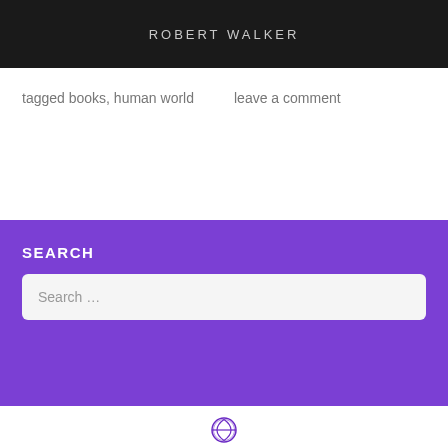[Figure (photo): Dark banner image with text 'ROBERT WALKER' in spaced grey letters on a near-black textured background]
tagged books, human world     leave a comment
SEARCH
Search …
[Figure (logo): WordPress circular logo icon in purple outline]